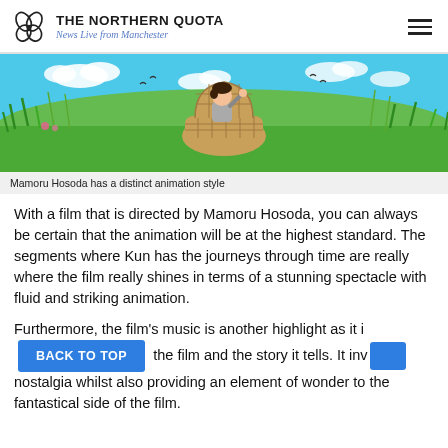THE NORTHERN QUOTA — News Live from Manchester
[Figure (illustration): Anime-style illustration from Mamoru Hosoda film: a young boy in grey outfit sitting on a large wicker chair in a lush green field with blue sky and clouds]
Mamoru Hosoda has a distinct animation style
With a film that is directed by Mamoru Hosoda, you can always be certain that the animation will be at the highest standard. The segments where Kun has the journeys through time are really where the film really shines in terms of a stunning spectacle with fluid and striking animation.
Furthermore, the film's music is another highlight as it i[BACK TO TOP]the film and the story it tells. It inv[BACK TO TOP]nostalgia whilst also providing an element of wonder to the fantastical side of the film.